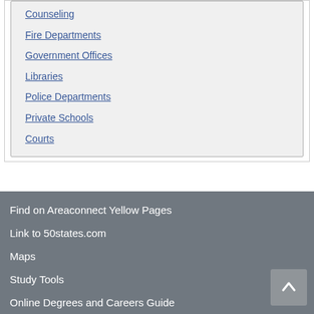Counseling
Fire Departments
Government Offices
Libraries
Police Departments
Private Schools
Courts
Find on Areaconnect Yellow Pages
Link to 50states.com
Maps
Study Tools
Online Degrees and Careers Guide